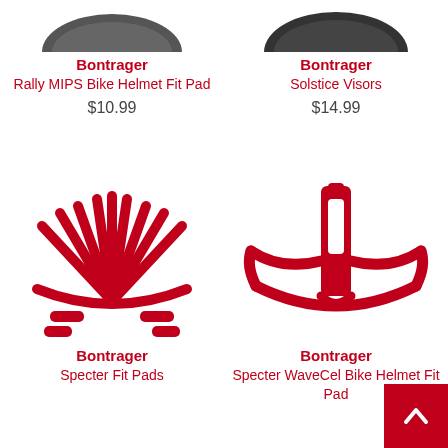[Figure (photo): Partially visible Bontrager Rally MIPS Bike Helmet Fit Pad product image (cropped at top)]
Bontrager
Rally MIPS Bike Helmet Fit Pad
$10.99
[Figure (photo): Partially visible Bontrager Solstice Visors product image (cropped at top)]
Bontrager
Solstice Visors
$14.99
[Figure (photo): Red Bontrager Specter Fit Pads product image showing fan-shaped red pad pieces]
Bontrager
Specter Fit Pads
[Figure (photo): Red Bontrager Specter WaveCel Bike Helmet Fit Pad product image]
Bontrager
Specter WaveCel Bike Helmet Fit Pad